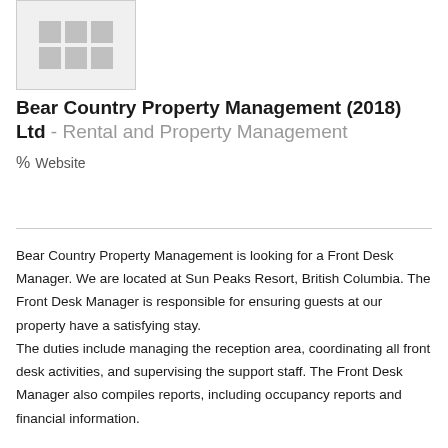[Figure (logo): Company logo placeholder with a 3x2 grid of grey squares on a light grey background]
Bear Country Property Management (2018) Ltd - Rental and Property Management
% Website
Bear Country Property Management is looking for a Front Desk Manager. We are located at Sun Peaks Resort, British Columbia. The Front Desk Manager is responsible for ensuring guests at our property have a satisfying stay. The duties include managing the reception area, coordinating all front desk activities, and supervising the support staff. The Front Desk Manager also compiles reports, including occupancy reports and financial information.